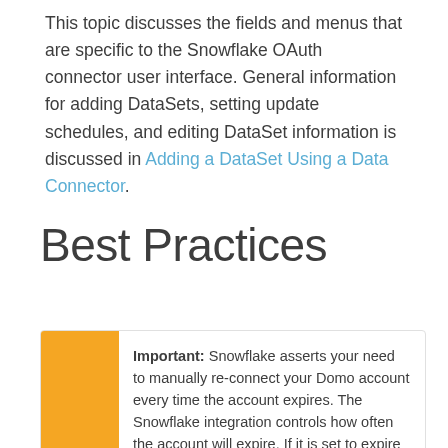This topic discusses the fields and menus that are specific to the Snowflake OAuth connector user interface. General information for adding DataSets, setting update schedules, and editing DataSet information is discussed in Adding a DataSet Using a Data Connector.
Best Practices
Important: Snowflake asserts your need to manually re-connect your Domo account every time the account expires. The Snowflake integration controls how often the account will expire. If it is set to expire the refresh tokens every 90 days, then you will need to reconnect the account every 90 days. If you would like to increase the refresh timeout to more than 90 days, then you will need to contact